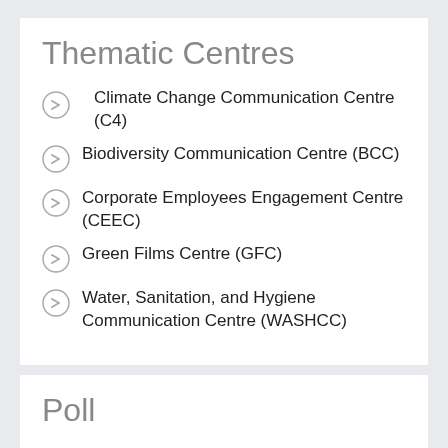Thematic Centres
Climate Change Communication Centre (C4)
Biodiversity Communication Centre (BCC)
Corporate Employees Engagement Centre (CEEC)
Green Films Centre (GFC)
Water, Sanitation, and Hygiene Communication Centre (WASHCC)
Poll
What do you think about us?
[Figure (bar-chart): Super]
Good 31%